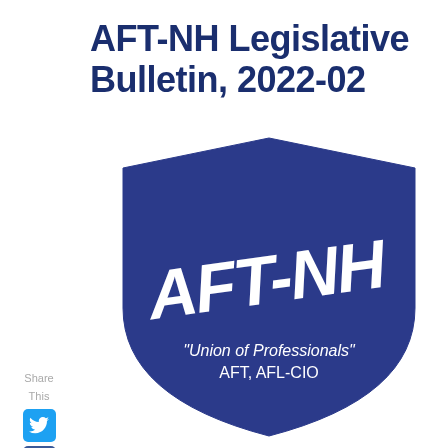AFT-NH Legislative Bulletin, 2022-02
[Figure (logo): AFT-NH shield logo in dark blue with white script text reading 'AFT-NH' and below it 'Union of Professionals' AFT, AFL-CIO]
Share This